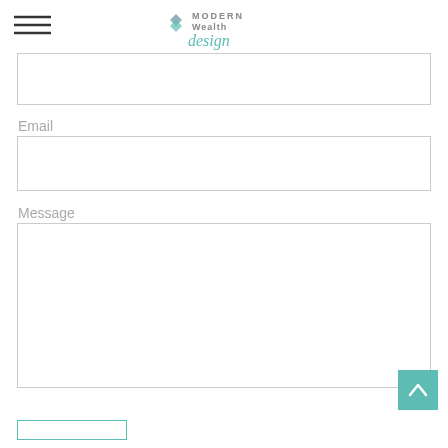[Figure (logo): Modern Wealth Design logo with geometric diamond shape in teal/grey and script text]
Email
Message